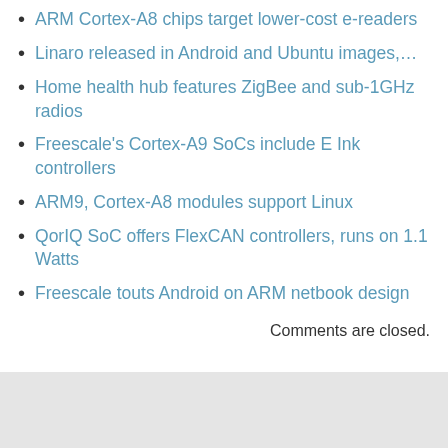ARM Cortex-A8 chips target lower-cost e-readers
Linaro released in Android and Ubuntu images,…
Home health hub features ZigBee and sub-1GHz radios
Freescale's Cortex-A9 SoCs include E Ink controllers
ARM9, Cortex-A8 modules support Linux
QorIQ SoC offers FlexCAN controllers, runs on 1.1 Watts
Freescale touts Android on ARM netbook design
Comments are closed.
The content on this site is copyright © 2007-2022 Rick Lehrbaum unless otherwise noted. Comm… QuinStreet Inc. and is reproduced here under license from its owner. This website is part of the D…